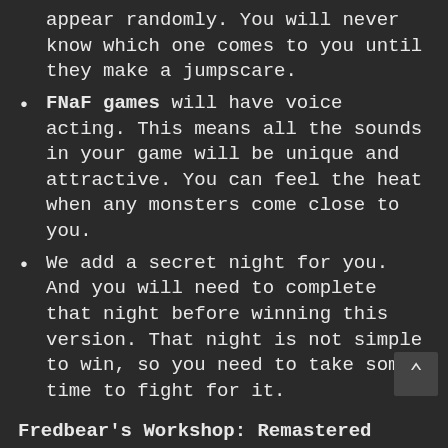appear randomly. You will never know which one comes to you until they make a jumpscare.
FNaF games will have voice acting. This means all the sounds in your game will be unique and attractive. You can feel the heat when any monsters come close to you.
We add a secret night for you. And you will need to complete that night before winning this version. That night is not simple to win, so you need to take some time to fight for it.
Fredbear's Workshop: Remastered (Unofficial) is nearly complete. This is a version that still needs to be working on. You shall need it for your experience!